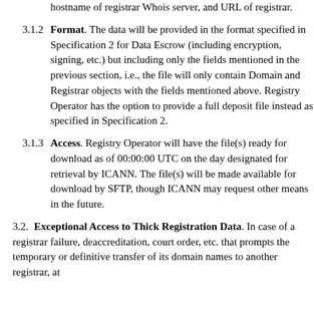hostname of registrar Whois server, and URL of registrar.
3.1.2 Format. The data will be provided in the format specified in Specification 2 for Data Escrow (including encryption, signing, etc.) but including only the fields mentioned in the previous section, i.e., the file will only contain Domain and Registrar objects with the fields mentioned above. Registry Operator has the option to provide a full deposit file instead as specified in Specification 2.
3.1.3 Access. Registry Operator will have the file(s) ready for download as of 00:00:00 UTC on the day designated for retrieval by ICANN. The file(s) will be made available for download by SFTP, though ICANN may request other means in the future.
3.2. Exceptional Access to Thick Registration Data. In case of a registrar failure, deaccreditation, court order, etc. that prompts the temporary or definitive transfer of its domain names to another registrar, at